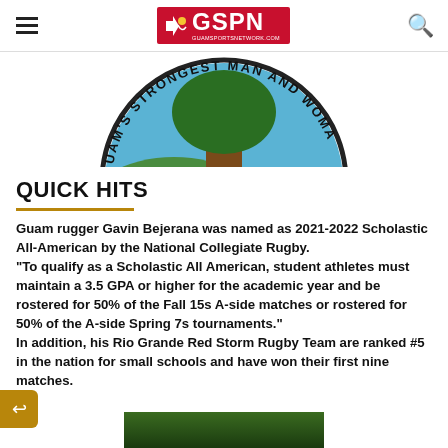GSPN - Guam Sports Network
[Figure (logo): Partial circular logo reading "GUAM'S STRONGEST MAN AND WOMAN" with a tree illustration in the center]
QUICK HITS
Guam rugger Gavin Bejerana was named as 2021-2022 Scholastic All-American by the National Collegiate Rugby.
"To qualify as a Scholastic All American, student athletes must maintain a 3.5 GPA or higher for the academic year and be rostered for 50% of the Fall 15s A-side matches or rostered for 50% of the A-side Spring 7s tournaments."
In addition, his Rio Grande Red Storm Rugby Team are ranked #5 in the nation for small schools and have won their first nine matches.
[Figure (photo): Partial photo of a sports scene, mostly cut off at bottom of page]